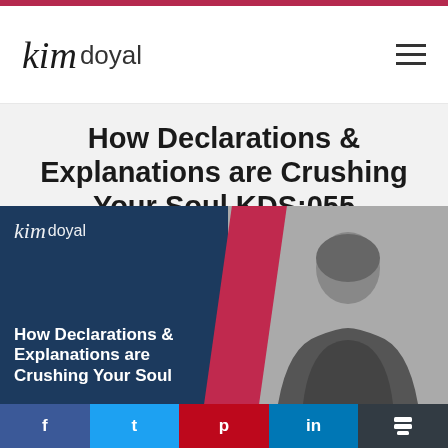kim doyal
How Declarations & Explanations are Crushing Your Soul KDS:055
Published On November 2, 2020 / Kim Doyal
[Figure (illustration): Kim Doyal branded feature image with dark blue background, pink diagonal stripe, person seen from behind, and white text reading 'How Declarations & Explanations are Crushing Your Soul']
f  t  p  in  (buffer icon)